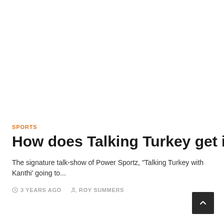SPORTS
How does Talking Turkey get its informa
The signature talk-show of Power Sportz, “Talking Turkey with Kanthi’ going to...
3 YEARS AGO   ROY SUMMERS